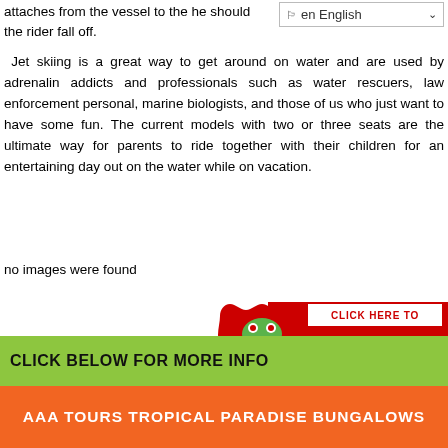attaches from the vessel to the … he should the rider fall off.
Jet skiing is a great way to get around on water and are used by adrenalin addicts and professionals such as water rescuers, law enforcement personal, marine biologists, and those of us who just want to have some fun. The current models with two or three seats are the ultimate way for parents to ride together with their children for an entertaining day out on the water while on vacation.
no images were found
[Figure (infographic): Red banner with a frog mascot in a scalloped red circle. Text reads: CLICK HERE TO GET A FREE VACATION ESTIMATE]
CLICK BELOW FOR MORE INFO
AAA TOURS TROPICAL PARADISE BUNGALOWS